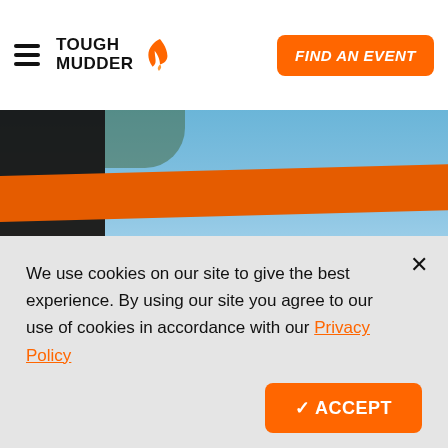TOUGH MUDDER — FIND AN EVENT
[Figure (photo): Outdoor photo showing an orange cylindrical obstacle bar against a blue sky, with dark tree shapes in the background. Dark shape at left.]
One of the core strengths of our team is that
We use cookies on our site to give the best experience. By using our site you agree to our use of cookies in accordance with our Privacy Policy
✓ ACCEPT
with others who bring a fresh view to the company,